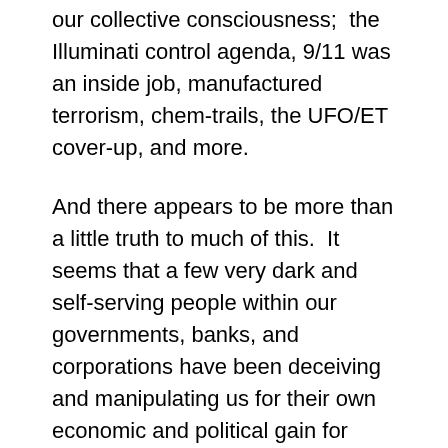our collective consciousness;  the Illuminati control agenda, 9/11 was an inside job, manufactured terrorism, chem-trails, the UFO/ET cover-up, and more.
And there appears to be more than a little truth to much of this.  It seems that a few very dark and self-serving people within our governments, banks, and corporations have been deceiving and manipulating us for their own economic and political gain for quite a while.  The truth of much of these so called “theories” appears to be fairly well supported if you are willing to keep an open mind and follow the trail of evidence presented by those who have studied it.
Of course, you won’t find much about this in the